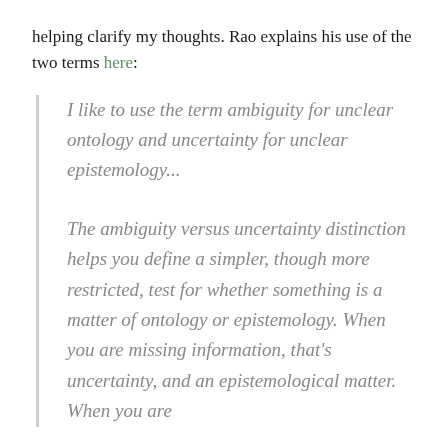helping clarify my thoughts. Rao explains his use of the two terms here:
I like to use the term ambiguity for unclear ontology and uncertainty for unclear epistemology...
The ambiguity versus uncertainty distinction helps you define a simpler, though more restricted, test for whether something is a matter of ontology or epistemology. When you are missing information, that's uncertainty, and an epistemological matter. When you are